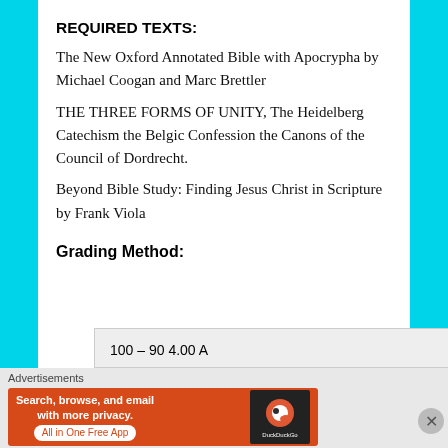REQUIRED TEXTS:
The New Oxford Annotated Bible with Apocrypha by Michael Coogan and Marc Brettler
THE THREE FORMS OF UNITY, The Heidelberg Catechism the Belgic Confession the Canons of the Council of Dordrecht.
Beyond Bible Study: Finding Jesus Christ in Scripture by Frank Viola
Grading Method:
| 100 – 90 4.00 A |